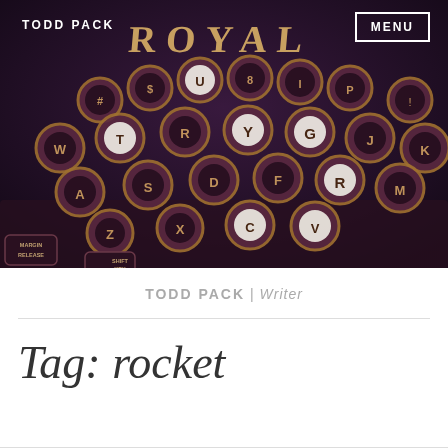[Figure (photo): Close-up photograph of a vintage Royal typewriter keyboard with dark purple/maroon toned keys arranged in QWERTY layout, gold-rimmed circular keys with white letters, against a dark background.]
TODD PACK
MENU
TODD PACK | Writer
Tag: rocket